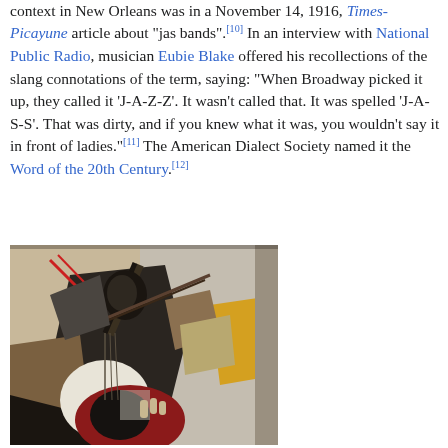context in New Orleans was in a November 14, 1916, Times-Picayune article about "jas bands".[10] In an interview with National Public Radio, musician Eubie Blake offered his recollections of the slang connotations of the term, saying: "When Broadway picked it up, they called it 'J-A-Z-Z'. It wasn't called that. It was spelled 'J-A-S-S'. That was dirty, and if you knew what it was, you wouldn't say it in front of ladies."[11] The American Dialect Society named it the Word of the 20th Century.[12]
[Figure (illustration): A cubist-style painting depicting a musician figure with geometric shapes in dark, yellow, red, and muted tones.]